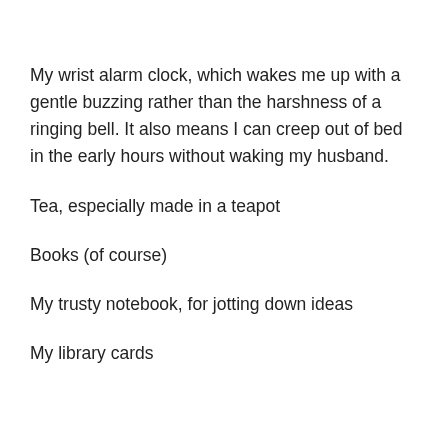My wrist alarm clock, which wakes me up with a gentle buzzing rather than the harshness of a ringing bell. It also means I can creep out of bed in the early hours without waking my husband.
Tea, especially made in a teapot
Books (of course)
My trusty notebook, for jotting down ideas
My library cards